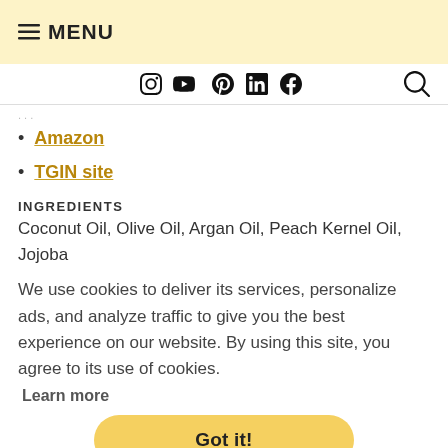☰ MENU
...
Amazon
TGIN site
INGREDIENTS
Coconut Oil, Olive Oil, Argan Oil, Peach Kernel Oil, Jojoba
We use cookies to deliver its services, personalize ads, and analyze traffic to give you the best experience on our website. By using this site, you agree to its use of cookies.
Learn more
Got it!